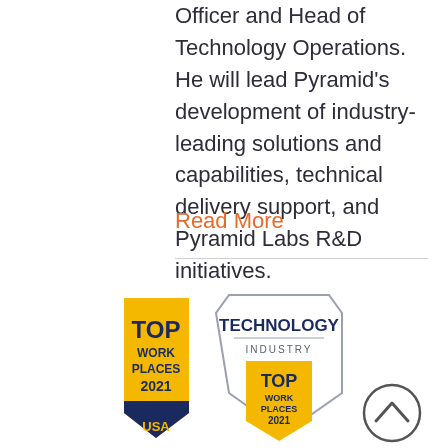Officer and Head of Technology Operations. He will lead Pyramid's development of industry-leading solutions and capabilities, technical delivery support, and Pyramid Labs R&D initiatives.
Read More
[Figure (logo): Two 'Top Work Places 2021 USA' and 'Technology Industry Top Work Places 2021' badges/logos in gold and navy blue colors]